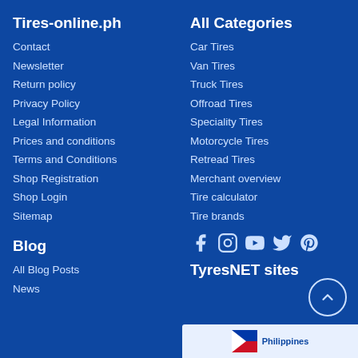Tires-online.ph
Contact
Newsletter
Return policy
Privacy Policy
Legal Information
Prices and conditions
Terms and Conditions
Shop Registration
Shop Login
Sitemap
Blog
All Blog Posts
News
All Categories
Car Tires
Van Tires
Truck Tires
Offroad Tires
Speciality Tires
Motorcycle Tires
Retread Tires
Merchant overview
Tire calculator
Tire brands
[Figure (infographic): Social media icons: Facebook, Instagram, YouTube, Twitter, Pinterest]
TyresNET sites
[Figure (screenshot): TyresNET Philippines site thumbnail]